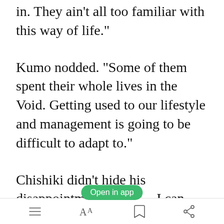in. They ain’t all too familiar with this way of life.”
Kumo nodded. “Some of them spent their whole lives in the Void. Getting used to our lifestyle and management is going to be difficult to adapt to.”
Chishiki didn’t hide his disappointment well. “…I can shift
[Figure (other): Green 'Open in app' button overlay]
Toolbar with menu, font size, bookmark, and share icons